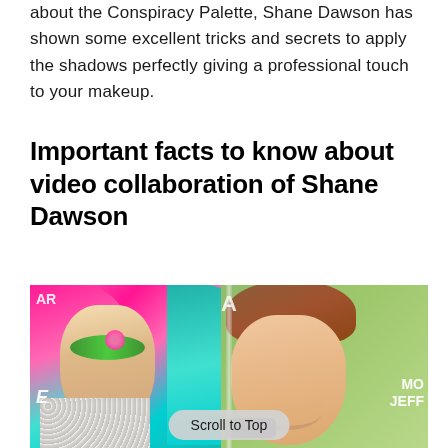about the Conspiracy Palette, Shane Dawson has shown some excellent tricks and secrets to apply the shadows perfectly giving a professional touch to your makeup.
Important facts to know about video collaboration of Shane Dawson
[Figure (photo): Photo of two people: on the left, a person with pink and teal hair and dramatic green eye makeup wearing a pearl outfit; on the right, a young man with brown curly hair wearing a black shirt, smiling. Text overlays include 'AR', 'E', 'A', 'MO JEFF'. A 'Scroll to Top' button appears at the bottom of the image.]